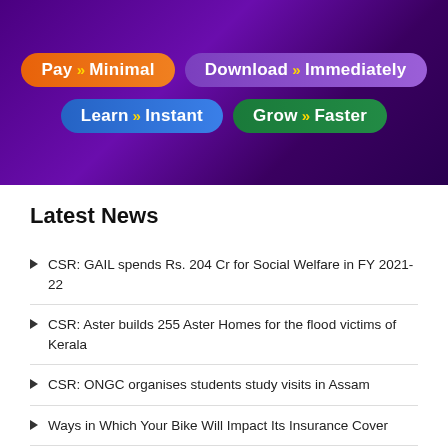[Figure (infographic): Purple gradient banner with four colored badge buttons: 'Pay » Minimal' (orange), 'Download » Immediately' (purple), 'Learn » Instant' (blue), 'Grow » Faster' (green)]
Latest News
CSR: GAIL spends Rs. 204 Cr for Social Welfare in FY 2021-22
CSR: Aster builds 255 Aster Homes for the flood victims of Kerala
CSR: ONGC organises students study visits in Assam
Ways in Which Your Bike Will Impact Its Insurance Cover
Women trained under M3M Foundation Kaushal Sambal awarded at a unique convocation ceremony
Increasing rates of malnutrition and starvation